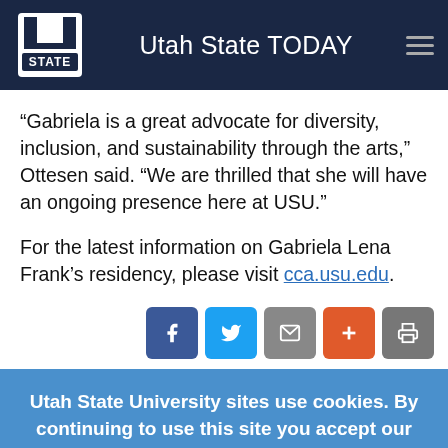Utah State TODAY
“Gabriela is a great advocate for diversity, inclusion, and sustainability through the arts,” Ottesen said. “We are thrilled that she will have an ongoing presence here at USU.”
For the latest information on Gabriela Lena Frank’s residency, please visit cca.usu.edu.
Utah State University sites use cookies. By continuing to use this site you accept our privacy and cookie policy.